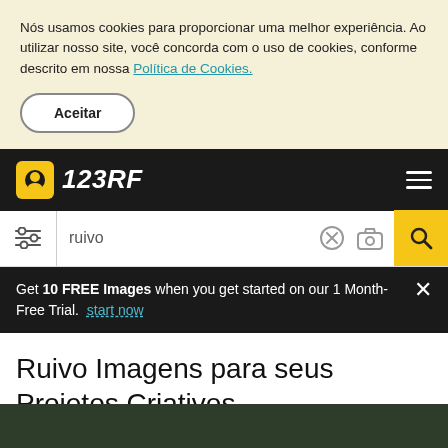Nós usamos cookies para proporcionar uma melhor experiência. Ao utilizar nosso site, você concorda com o uso de cookies, conforme descrito em nossa Política de Cookies.
Aceitar
[Figure (screenshot): 123RF logo with camera icon in yellow and white bold italic text on dark background, hamburger menu icon on right]
[Figure (screenshot): Search bar with filter icon, text input showing 'ruivo', clear (x) and camera icons, yellow search button with magnifier icon]
Get 10 FREE Images when you get started on our 1 Month-Free Trial. start now
Ruivo Imagens para seus Projetos Criativos
[Figure (photo): Partial photo strip at bottom of page with dark green/brown tones]